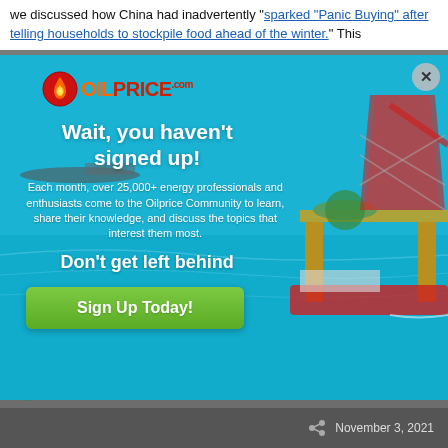we discussed how China had inadvertently "sparked 'Panic Buying' after telling households to stockpile food ahead of the winter." This
[Figure (screenshot): OilPrice.com signup modal popup overlay on an ocean oil rig background image. Contains the OilPrice.com logo, headline 'Wait, you haven't signed up!', body text about 25,000+ energy professionals, subheadline 'Don't get left behind', and a green 'Sign Up Today!' button. An X close button is in the top right.]
Tom Nolan  +2,353
optinmonster
November 3, 2021